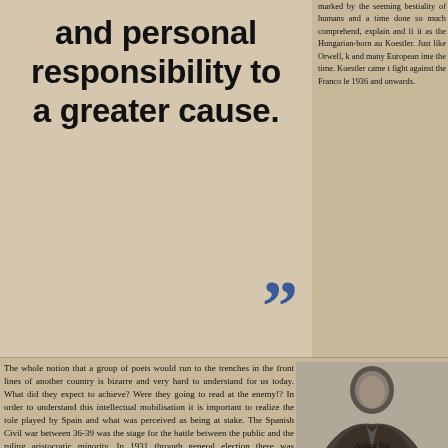and personal responsibility to a greater cause.
marked by the seeming bestiality of humans and a time done so much comprehend, explain and fi it as the Hungarian-born au Koestler. Just like Orwell, k and many European inte the time. Koestler came t fight against the Franco le 1936 and onwards.
The whole notion that a group of poets would run to the trenches in the front lines of another country is bizarre and very hard to understand for us today. What did they expect to achieve? Were they going to read at the enemy!? In order to understand this intellectual mobilisation it is important to realize the role played by Spain and what was perceived as being at stake. The Spanish Civil war between 36-39 was the stage for the battle between the public and the ruling aristocratic minority. In 1931 through general election there was established the Second Spanish Republic that granted citizens, including women, the right to vote, the freedom of religion and the abdication of the king. It was fundamentally a progressive step for justice, from a plutocratic feudal society with widespread poverty to something akin to modern democracy. One of th was that while the "public" agreed that the state should be separate from the workers given more rights, there was great disagreement about how the state organised. Spain was a melting pot of communists, anarchists, fascists, m
Arthur Ko